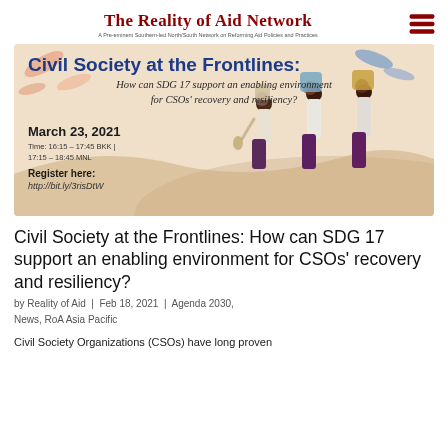The Reality of Aid Network
A Pre-eminent Southern-led North/South Network on Reforming Aid Policies and Practices
[Figure (infographic): Event banner for 'Civil Society at the Frontlines: How can SDG 17 support an enabling environment for CSOs' recovery and resiliency?' webinar on March 23, 2021, Time: 16:15 – 17:45 BKK | 17:15 – 18:45 MNL, Register here: http://bit.ly/3risDtW. Background image shows three people carrying items on their heads.]
Civil Society at the Frontlines: How can SDG 17 support an enabling environment for CSOs' recovery and resiliency?
by Reality of Aid | Feb 18, 2021 | Agenda 2030, News, RoA Asia Pacific
Civil Society Organizations (CSOs) have long proven